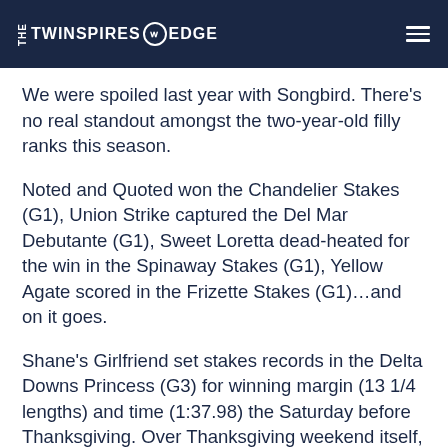THE TWINSPIRES EDGE
We were spoiled last year with Songbird. There’s no real standout amongst the two-year-old filly ranks this season.
Noted and Quoted won the Chandelier Stakes (G1), Union Strike captured the Del Mar Debutante (G1), Sweet Loretta dead-heated for the win in the Spinaway Stakes (G1), Yellow Agate scored in the Frizette Stakes (G1)…and on it goes.
Shane’s Girlfriend set stakes records in the Delta Downs Princess (G3) for winning margin (13 1/4 lengths) and time (1:37.98) the Saturday before Thanksgiving. Over Thanksgiving weekend itself, Farrell upset the Golden Rod Stakes (G2) by six lengths and Miss Sky Warrior wired the